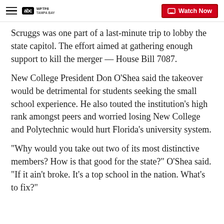WFTF6 TAMPA BAY | Watch Now
Scruggs was one part of a last-minute trip to lobby the state capitol. The effort aimed at gathering enough support to kill the merger — House Bill 7087.
New College President Don O’Shea said the takeover would be detrimental for students seeking the small school experience. He also touted the institution’s high rank amongst peers and worried losing New College and Polytechnic would hurt Florida’s university system.
“Why would you take out two of its most distinctive members? How is that good for the state?” O’Shea said. “If it ain’t broke. It’s a top school in the nation. What’s to fix?”